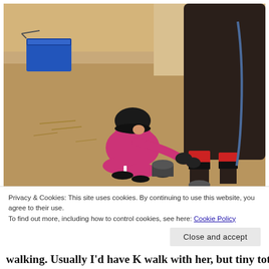[Figure (photo): A young child wearing a riding helmet and pink outfit crouching down next to a dark horse's legs, handling the horse's leg wraps/boots. A blue container is visible in the background on sandy ground.]
Privacy & Cookies: This site uses cookies. By continuing to use this website, you agree to their use.
To find out more, including how to control cookies, see here: Cookie Policy
Close and accept
walking. Usually I'd have K walk with her, but tiny tot